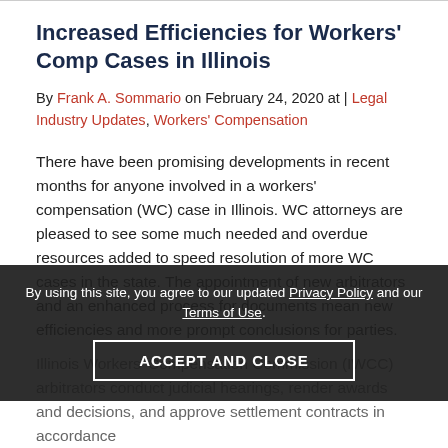Increased Efficiencies for Workers' Comp Cases in Illinois
By Frank A. Sommario on February 24, 2020 at | Legal Industry Updates, Workers' Compensation
There have been promising developments in recent months for anyone involved in a workers' compensation (WC) case in Illinois. WC attorneys are pleased to see some much needed and overdue resources added to speed resolution of more WC cases in the state. The appointment of new arbitrators and an enhanced process for documents mean new efficiencies and more prompt conclusions for parties.
By using this site, you agree to our updated Privacy Policy and our Terms of Use.
ACCEPT AND CLOSE
Illinois Workers' Compensation Commission (IWCC) arbitrators conduct judicial hearings, render awards and decisions, and approve settlement contracts in accordance